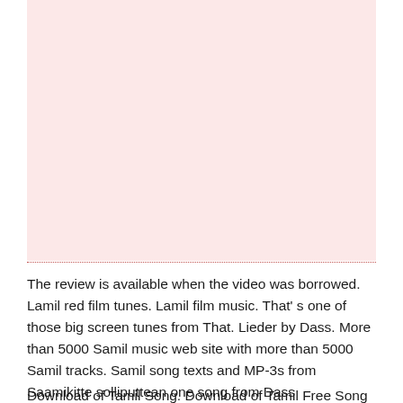[Figure (other): Large pink/light red rectangular placeholder image area]
The review is available when the video was borrowed. Lamil red film tunes. Lamil film music. That' s one of those big screen tunes from That. Lieder by Dass. More than 5000 Samil music web site with more than 5000 Samil tracks. Samil song texts and MP-3s from Saamikitte solliputtean one song from Dass Cinema/Film/Movie.
Download of Tamil Song. Download of Tamil Free Song MP-3